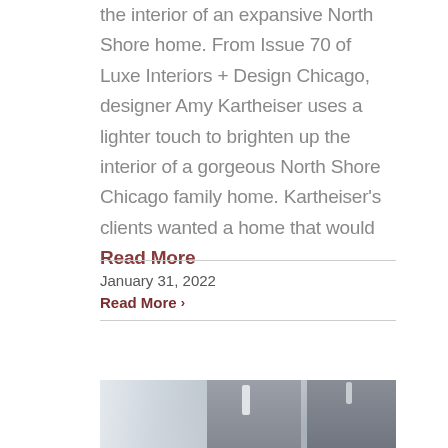the interior of an expansive North Shore home. From Issue 70 of Luxe Interiors + Design Chicago, designer Amy Kartheiser uses a lighter touch to brighten up the interior of a gorgeous North Shore Chicago family home. Kartheiser's clients wanted a home that would Read More
January 31, 2022
Read More ›
[Figure (photo): Interior photo showing a home interior with curtains/drapes on the left side, pendant lights hanging from ceiling, and architectural elements visible.]